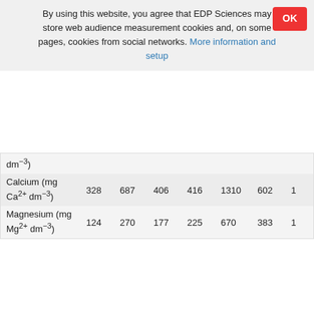By using this website, you agree that EDP Sciences may store web audience measurement cookies and, on some pages, cookies from social networks. More information and setup
|  |  |  |  |  |  |  |  |
| --- | --- | --- | --- | --- | --- | --- | --- |
| dm⁻³) |  |  |  |  |  |  |  |
| Calcium (mg Ca²⁺ dm⁻³) | 328 | 687 | 406 | 416 | 1310 | 602 | 1 |
| Magnesium (mg Mg²⁺ dm⁻³) | 124 | 270 | 177 | 225 | 670 | 383 | 1 |
The Mann–Whitney U-test; statistically significant differences in the medians are in bold.
Download this article in PDF format
Download the ePUB